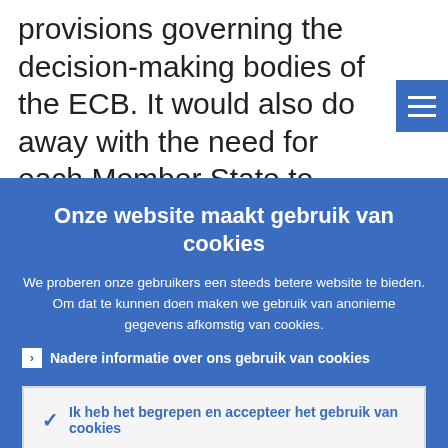provisions governing the decision-making bodies of the ECB. It would also do away with the need for each Member State to ratify, as currently foreseen in Article 10.6 of
Onze website maakt gebruik van cookies
We proberen onze gebruikers een steeds betere website te bieden. Om dat te kunnen doen maken we gebruik van anonieme gegevens afkomstig van cookies.
Nadere informatie over ons gebruik van cookies
Ik heb het begrepen en accepteer het gebruik van cookies
Ik weiger cookies